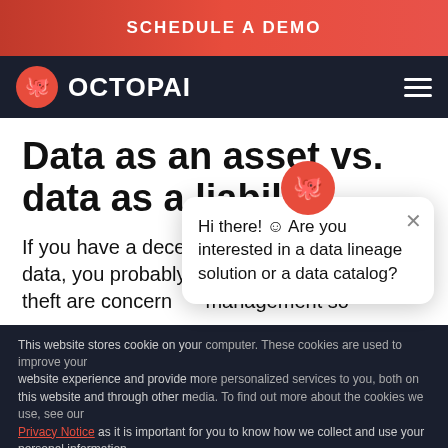SCHEDULE A DEMO
[Figure (logo): Octopai logo: red circle with octopus icon, followed by white bold text 'OCTOPAI']
Data as an asset vs. data as a liability
If you have a decent amount of meaningful data, you probably don't want it to go AWO... theft are concer... management so...
Hi there! 😊 Are you interested in a data lineage solution or a data catalog?
This website stores cookie on you... website experience and provide m... this website and through other m... Privacy Notice as it is important for you to know how we collect and use your personal information.